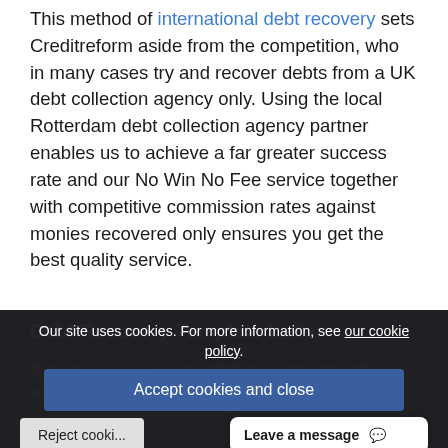This method of international debt recovery sets Creditreform aside from the competition, who in many cases try and recover debts from a UK debt collection agency only. Using the local Rotterdam debt collection agency partner enables us to achieve a far greater success rate and our No Win No Fee service together with competitive commission rates against monies recovered only ensures you get the best quality service.
Our site uses cookies. For more information, see our cookie policy.
Accept cookies and close
Debt Recovery Template Letter
If you h... are not settled their accounts with you within your terms and co... being sent to them w...
Reject cooki...
Leave a message